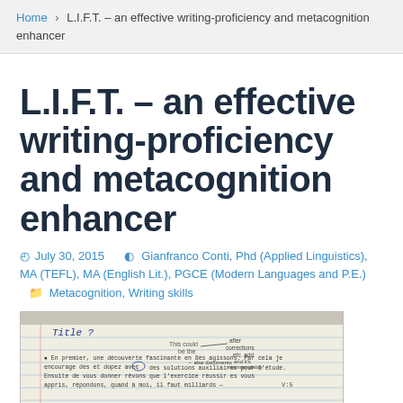Home > L.I.F.T. – an effective writing-proficiency and metacognition enhancer
L.I.F.T. – an effective writing-proficiency and metacognition enhancer
July 30, 2015  Gianfranco Conti, Phd (Applied Linguistics), MA (TEFL), MA (English Lit.), PGCE (Modern Languages and P.E.)  Metacognition, Writing skills
[Figure (photo): A handwritten notebook page with the word 'Title?' written at the top and several lines of handwritten French text below, with annotations and arrows.]